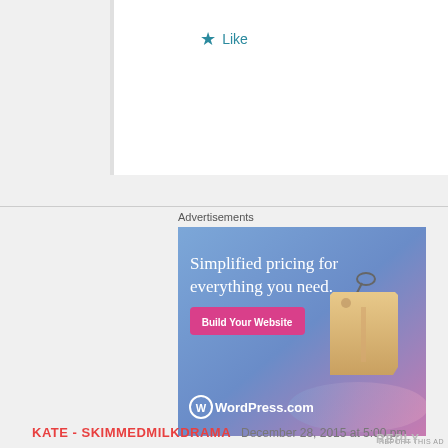★ Like
Advertisements
[Figure (illustration): WordPress.com advertisement: blue-purple gradient background with price tag image. Text reads 'Simplified pricing for everything you need.' with a pink 'Build Your Website' button and WordPress.com logo at bottom.]
REPORT THIS AD
KATE - SKIMMEDMILKDRAMA  December 28, 2015 at 5:00 pm
REPLY